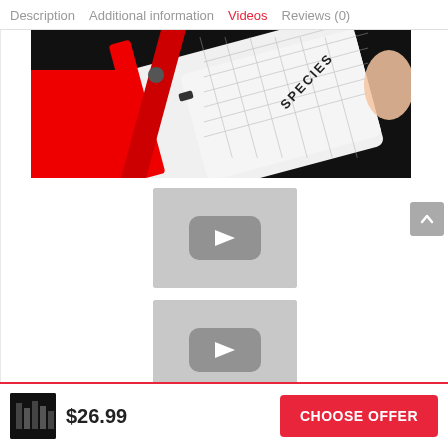Description  Additional information  Videos  Reviews (0)
[Figure (photo): Close-up photo of a white and red cricket bat or sports equipment with 'SPECIES' branding and a honeycomb/mesh pattern, held by a hand against a red background]
[Figure (screenshot): Video thumbnail placeholder with gray background and play button icon]
[Figure (screenshot): Video thumbnail placeholder with gray background and play button icon]
$26.99
CHOOSE OFFER